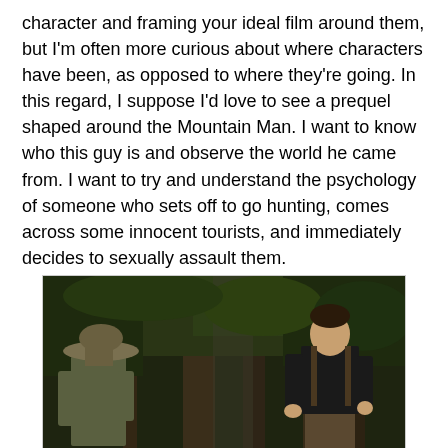character and framing your ideal film around them, but I'm often more curious about where characters have been, as opposed to where they're going. In this regard, I suppose I'd love to see a prequel shaped around the Mountain Man. I want to know who this guy is and observe the world he came from. I want to try and understand the psychology of someone who sets off to go hunting, comes across some innocent tourists, and immediately decides to sexually assault them.
[Figure (photo): A film still showing two figures in a dense forest. On the left, a person wearing a wide-brimmed hat seen from behind. On the right, a man in a black shirt and overalls standing among tall trees.]
The way the Mountain Man and the Toothless Man silently choose to commit the rape makes it appear as if they've done it before. But how many opportunities could they really have had? How many tourists have gotten lost canoeing on this river, near where these guys hunt? If it has happened before, under somewhat similar circumstances, what did the criminals do with their victims? Were the Mountain Man and